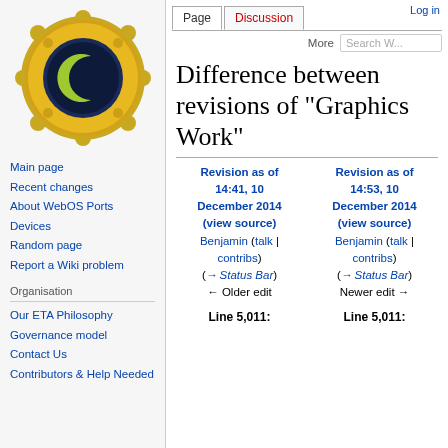Log in
[Figure (logo): WebOS Ports wiki logo: golden gear/porthole with dark blue eye and green crescent moon]
Main page
Recent changes
About WebOS Ports
Devices
Random page
Report a Wiki problem
Organisation
Our ETA Philosophy
Governance model
Contact Us
Contributors & Help Needed
Difference between revisions of "Graphics Work"
| Revision as of 14:41, 10 December 2014 | Revision as of 14:53, 10 December 2014 |
| --- | --- |
| (view source) | (view source) |
| Benjamin (talk | contribs) | Benjamin (talk | contribs) |
| (→ Status Bar) | (→ Status Bar) |
| ← Older edit | Newer edit → |
Line 5,011:	Line 5,011: